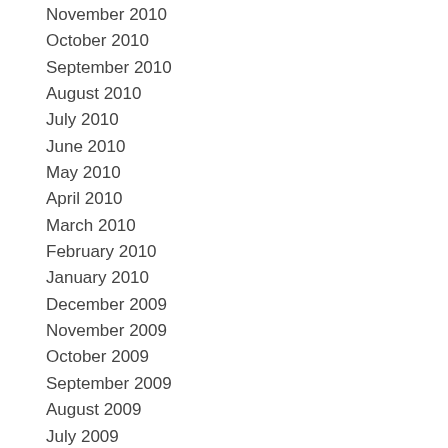November 2010
October 2010
September 2010
August 2010
July 2010
June 2010
May 2010
April 2010
March 2010
February 2010
January 2010
December 2009
November 2009
October 2009
September 2009
August 2009
July 2009
June 2009
May 2009
April 2009